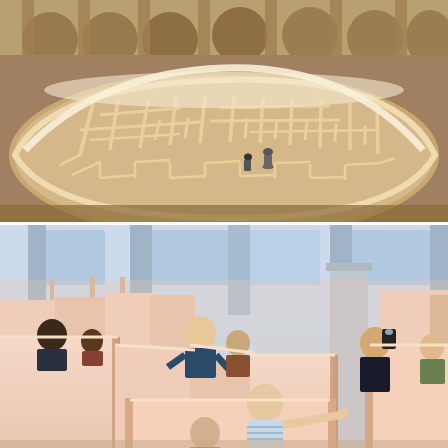[Figure (photo): Aerial/overhead view of a large indoor wooden maze installation inside a grand hall with arched arcade columns. The maze walls are light cream/tan wood. Two or three people are visible walking inside the maze corridors in the lower center. The maze has curved outer walls and complex interlocking rectangular passages.]
[Figure (photo): Ground-level interior view of the same wooden maze installation. Several visitors are visible standing between the light peach-pink maze walls: a man and woman on the left, a boy and another person in the center, a woman taking a selfie/photo on the right, and a girl pointing in the foreground. The architecture of the hall with columns is visible in the background above the walls.]